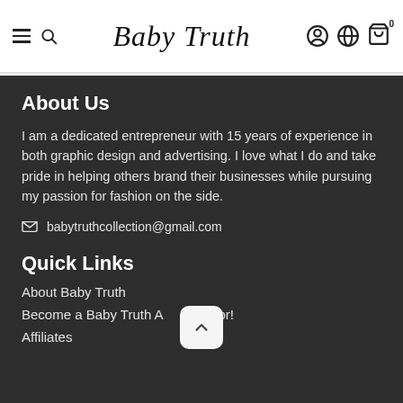Baby Truth — site header with navigation menu, search, account, language, and cart icons
About Us
I am a dedicated entrepreneur with 15 years of experience in both graphic design and advertising. I love what I do and take pride in helping others brand their businesses while pursuing my passion for fashion on the side.
babytruthcollection@gmail.com
Quick Links
About Baby Truth
Become a Baby Truth Ambassador!
Affiliates